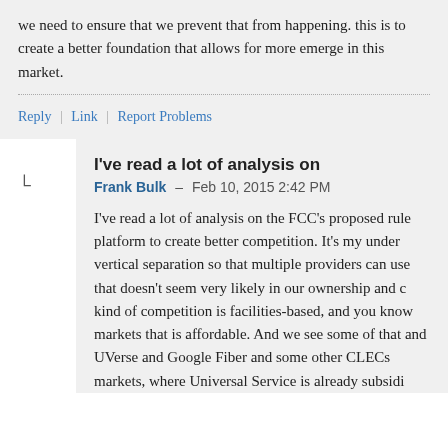we need to ensure that we prevent that from happening. this is to create a better foundation that allows for more emerge in this market.
Reply | Link | Report Problems
I've read a lot of analysis on
Frank Bulk – Feb 10, 2015 2:42 PM
I've read a lot of analysis on the FCC's proposed rule platform to create better competition. It's my understanding vertical separation so that multiple providers can use that doesn't seem very likely in our ownership and competition is facilities-based, and you know markets that is affordable. And we see some of that and UVerse and Google Fiber and some other CLECs markets, where Universal Service is already subsidized.